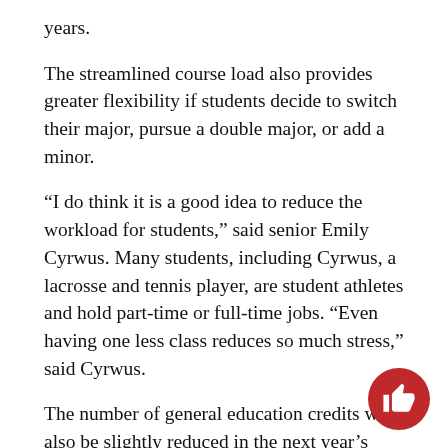years.
The streamlined course load also provides greater flexibility if students decide to switch their major, pursue a double major, or add a minor.
“I do think it is a good idea to reduce the workload for students,” said senior Emily Cyrwus. Many students, including Cyrwus, a lacrosse and tennis player, are student athletes and hold part-time or full-time jobs. “Even having one less class reduces so much stress,” said Cyrwus.
The number of general education credits will also be slightly reduced in the next year’s academic catalog. Students will still be required to take certain CUC-specific courses, including theology. The overall reduction in credits, however, does not apply to majors that require additional credits due to Illino